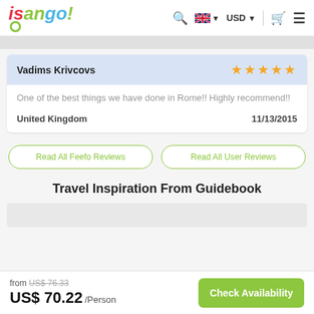isango! — navigation header with search, language (UK flag), USD currency selector, cart and menu icons
Vadims Krivcovs — 5 stars
One of the best things we have done in Rome!! Highly recommend!! United Kingdom 11/13/2015
Read All Feefo Reviews
Read All User Reviews
Travel Inspiration From Guidebook
from US$ 76.33 US$ 70.22 /Person  Check Availability